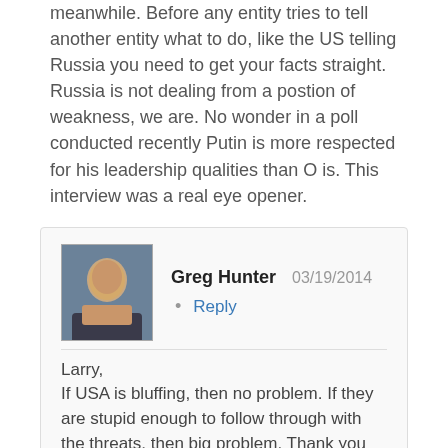meanwhile. Before any entity tries to tell another entity what to do, like the US telling Russia you need to get your facts straight. Russia is not dealing from a postion of weakness, we are. No wonder in a poll conducted recently Putin is more respected for his leadership qualities than O is. This interview was a real eye opener.
Greg Hunter 03/19/2014 • Reply
Larry,
If USA is bluffing, then no problem. If they are stupid enough to follow through with the threats, then big problem. Thank you for the comment. Our leaders just might be stupid enough to follow through. I think the EU will abandon the U.S. at that point. Lots of business ties between EU/UK and Russia–lots.
Greg
SMAULGLD Reply